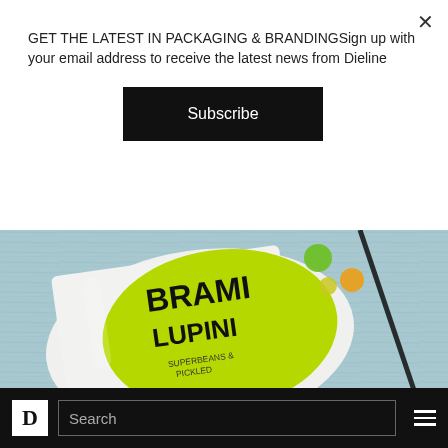GET THE LATEST IN PACKAGING & BRANDINGSign up with your email address to receive the latest news from Dieline
Subscribe
[Figure (photo): Close-up photo of a Brami Lupini Superbeans Pickled product packaging in bright green/yellow-green color on a light blue wood-textured background.]
FOOD PACKAGING
08/18/2022
Brami's Nurturing Packaging System
D  Search  ☰